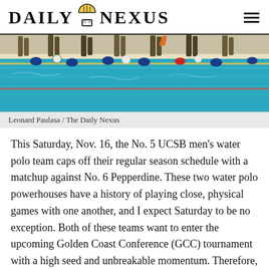DAILY NEXUS
[Figure (photo): Water polo players at the edge of a pool, seen from the waist down, with blue caps and water polo balls visible along the pool lane.]
Leonard Paulasa / The Daily Nexus
This Saturday, Nov. 16, the No. 5 UCSB men's water polo team caps off their regular season schedule with a matchup against No. 6 Pepperdine. These two water polo powerhouses have a history of playing close, physical games with one another, and I expect Saturday to be no exception. Both of these teams want to enter the upcoming Golden Coast Conference (GCC) tournament with a high seed and unbreakable momentum. Therefore, Saturday's contest should be a good one.